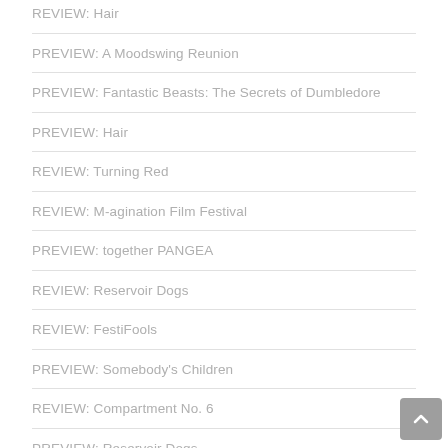REVIEW: Hair
PREVIEW: A Moodswing Reunion
PREVIEW: Fantastic Beasts: The Secrets of Dumbledore
PREVIEW: Hair
REVIEW: Turning Red
REVIEW: M-agination Film Festival
PREVIEW: together PANGEA
REVIEW: Reservoir Dogs
REVIEW: FestiFools
PREVIEW: Somebody's Children
REVIEW: Compartment No. 6
PREVIEW: Reservoir Dogs